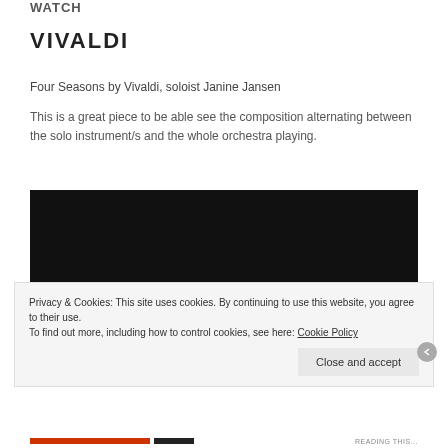WATCH
VIVALDI
Four Seasons by Vivaldi, soloist Janine Jansen
This is a great piece to be able see the composition alternating between the solo instrument/s and the whole orchestra playing.
[Figure (screenshot): Embedded video player showing a dark/black screen, likely a music video or concert performance.]
Privacy & Cookies: This site uses cookies. By continuing to use this website, you agree to their use.
To find out more, including how to control cookies, see here: Cookie Policy
Close and accept